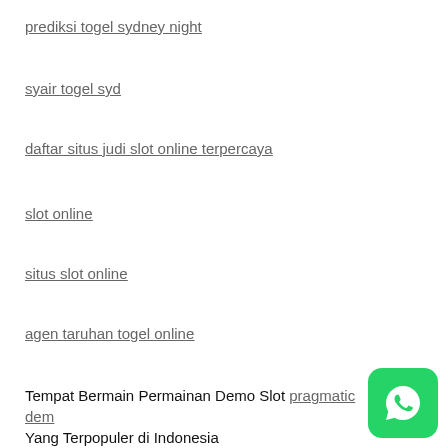prediksi togel sydney night
syair togel syd
daftar situs judi slot online terpercaya
slot online
situs slot online
agen taruhan togel online
Tempat Bermain Permainan Demo Slot pragmatic dem... Yang Terpopuler di Indonesia